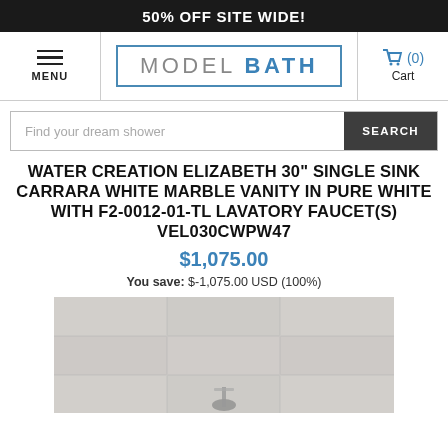50% OFF SITE WIDE!
[Figure (logo): Model Bath logo with navigation menu and cart icons]
Find your dream shower
WATER CREATION ELIZABETH 30" SINGLE SINK CARRARA WHITE MARBLE VANITY IN PURE WHITE WITH F2-0012-01-TL LAVATORY FAUCET(S) VEL030CWPW47
$1,075.00
You save: $-1,075.00 USD (100%)
[Figure (photo): Product photo of the vanity with marble top and faucet, partially visible]